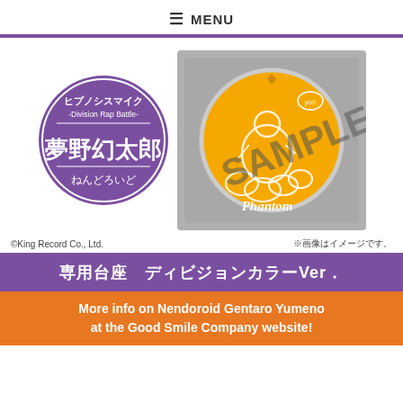≡ MENU
[Figure (illustration): Purple circular badge with Japanese text: ヒプノシスマイク -Division Rap Battle- 夢野幻太郎 ねんどろいど, and a product photo of a yellow Nendoroid stand/base inside a clear plastic case with 'Phantom' script and a white character figure outline, overlaid with 'SAMPLE' watermark in grey]
©King Record Co., Ltd.
※画像はイメージです。
専用台座　ディビジョンカラーVer．
More info on Nendoroid Gentaro Yumeno at the Good Smile Company website!